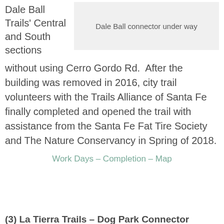Dale Ball Trails' Central and South sections
Dale Ball connector under way
without using Cerro Gordo Rd.  After the building was removed in 2016, city trail volunteers with the Trails Alliance of Santa Fe finally completed and opened the trail with assistance from the Santa Fe Fat Tire Society and The Nature Conservancy in Spring of 2018.
Work Days – Completion – Map
(3) La Tierra Trails – Dog Park Connector